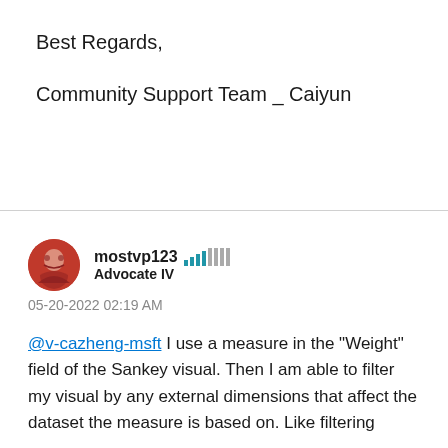Best Regards,
Community Support Team _ Caiyun
mostvp123
Advocate IV
05-20-2022 02:19 AM
@v-cazheng-msft I use a measure in the "Weight" field of the Sankey visual. Then I am able to filter my visual by any external dimensions that affect the dataset the measure is based on. Like filtering